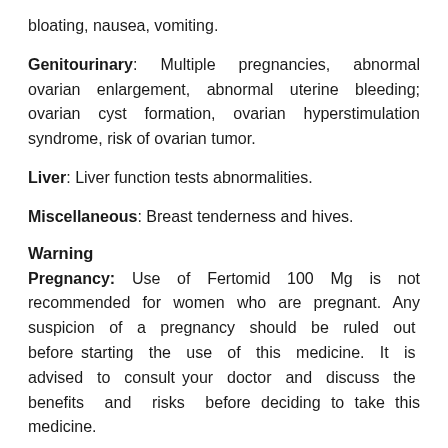bloating, nausea, vomiting.
Genitourinary: Multiple pregnancies, abnormal ovarian enlargement, abnormal uterine bleeding; ovarian cyst formation, ovarian hyperstimulation syndrome, risk of ovarian tumor.
Liver: Liver function tests abnormalities.
Miscellaneous: Breast tenderness and hives.
Warning
Pregnancy: Use of Fertomid 100 Mg is not recommended for women who are pregnant. Any suspicion of a pregnancy should be ruled out before starting the use of this medicine. It is advised to consult your doctor and discuss the benefits and risks before deciding to take this medicine.